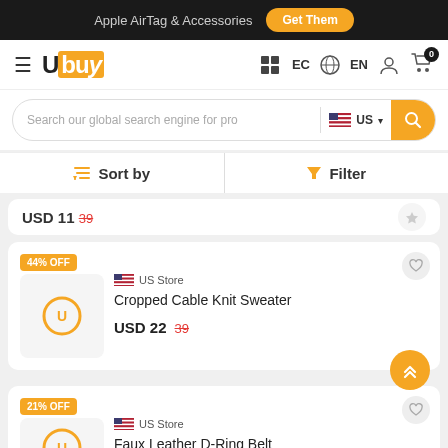Apple AirTag & Accessories  Get Them
[Figure (logo): Ubuy logo with hamburger menu and navigation icons: EC country selector, EN language, user icon, cart with 0 badge]
[Figure (screenshot): Search bar with placeholder 'Search our global search engine for pro', US flag country selector, and search button]
Sort by  |  Filter
USD 11  39 (partially visible card)
[Figure (photo): 44% OFF badge. Ubuy placeholder image. US Store. Cropped Cable Knit Sweater. USD 22  39]
US Store
Cropped Cable Knit Sweater
USD 22  39
[Figure (photo): 21% OFF badge. Ubuy placeholder image. US Store. Faux Leather D-Ring Belt]